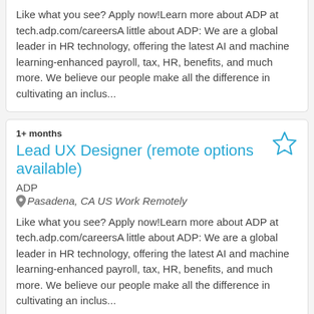Like what you see? Apply now!Learn more about ADP at tech.adp.com/careersA little about ADP: We are a global leader in HR technology, offering the latest AI and machine learning-enhanced payroll, tax, HR, benefits, and much more. We believe our people make all the difference in cultivating an inclus...
1+ months
Lead UX Designer (remote options available)
ADP
Pasadena, CA US Work Remotely
Like what you see? Apply now!Learn more about ADP at tech.adp.com/careersA little about ADP: We are a global leader in HR technology, offering the latest AI and machine learning-enhanced payroll, tax, HR, benefits, and much more. We believe our people make all the difference in cultivating an inclus...
1+ months